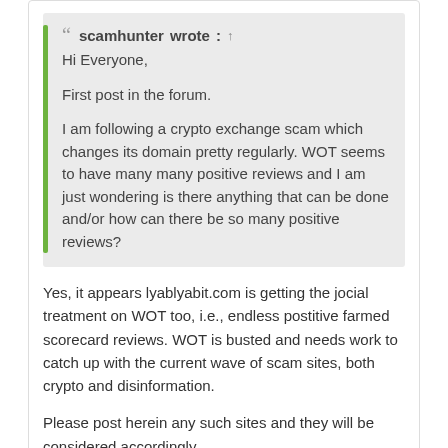scamhunter wrote: ↑
Hi Everyone,

First post in the forum.

I am following a crypto exchange scam which changes its domain pretty regularly. WOT seems to have many many positive reviews and I am just wondering is there anything that can be done and/or how can there be so many positive reviews?
Yes, it appears lyablyabit.com is getting the jocial treatment on WOT too, i.e., endless postitive farmed scorecard reviews. WOT is busted and needs work to catch up with the current wave of scam sites, both crypto and disinformation.

Please post herein any such sites and they will be considered accordingly.